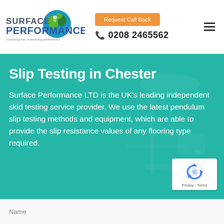[Figure (logo): Surface Performance LTD logo with circular icon showing blue and green person/leaf design, company name in blue/grey text, tagline 'monitoring risk. maintaining performance']
Request Call Back
0208 2465562
Slip Testing in Chester
Surface Performance LTD is the UK's leading independent skid testing service provider. We use the latest pendulum slip testing methods and equipment, which are able to provide the slip resistance values of any flooring type required.
Name